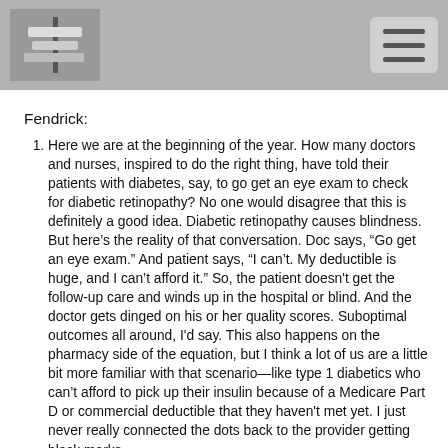[Header with logo image and hamburger menu button]
Fendrick:
Here we are at the beginning of the year. How many doctors and nurses, inspired to do the right thing, have told their patients with diabetes, say, to go get an eye exam to check for diabetic retinopathy? No one would disagree that this is definitely a good idea. Diabetic retinopathy causes blindness. But here's the reality of that conversation. Doc says, “Go get an eye exam.” And patient says, “I can’t. My deductible is huge, and I can’t afford it.” So, the patient doesn't get the follow-up care and winds up in the hospital or blind. And the doctor gets dinged on his or her quality scores. Suboptimal outcomes all around, I'd say. This also happens on the pharmacy side of the equation, but I think a lot of us are a little bit more familiar with that scenario—like type 1 diabetics who can’t afford to pick up their insulin because of a Medicare Part D or commercial deductible that they haven't met yet. I just never really connected the dots back to the provider getting black marks because their patients don't benefit during the that...